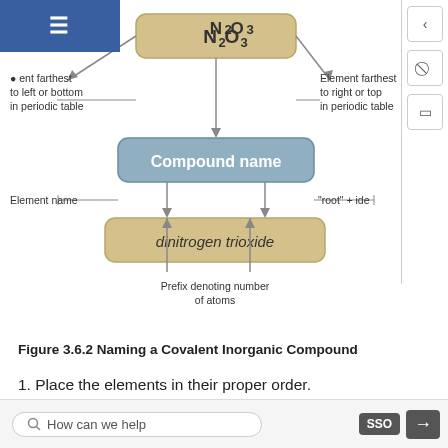[Figure (flowchart): Diagram showing how to name a covalent inorganic compound. N2O3 at the top with arrows pointing to 'Compound name' box. Labels indicate: element farthest to left or bottom in periodic table (left arrow), element farthest to right or top in periodic table (right arrow). From 'Compound name', an arrow leads down to 'dinitrogen trioxide'. Labels show: Element name (left), 'root' + ide (right), and Prefix denoting number of atoms (bottom arrows).]
Figure 3.6.2 Naming a Covalent Inorganic Compound
1. Place the elements in their proper order.
1. The element farthest to the left in the periodic table is usually named first. If both elements are in the same group, the element closer to the